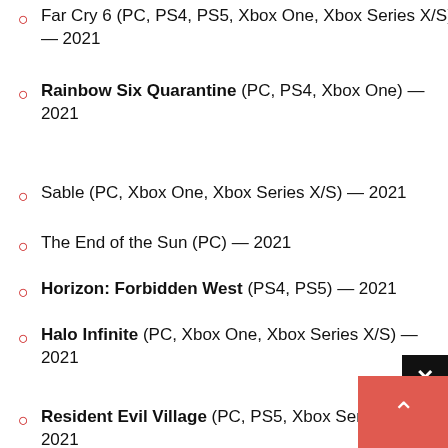Far Cry 6 (PC, PS4, PS5, Xbox One, Xbox Series X/S) — 2021
Rainbow Six Quarantine (PC, PS4, Xbox One) — 2021
Sable (PC, Xbox One, Xbox Series X/S) — 2021
The End of the Sun (PC) — 2021
Horizon: Forbidden West (PS4, PS5) — 2021
Halo Infinite (PC, Xbox One, Xbox Series X/S) — 2021
Resident Evil Village (PC, PS5, Xbox Series X/S) — 2021
Ratchet & Clank: Rift Apart — (PS5) — 2021
Kena: Bridge of Spirits (PC, PS5, PS4) — 2021